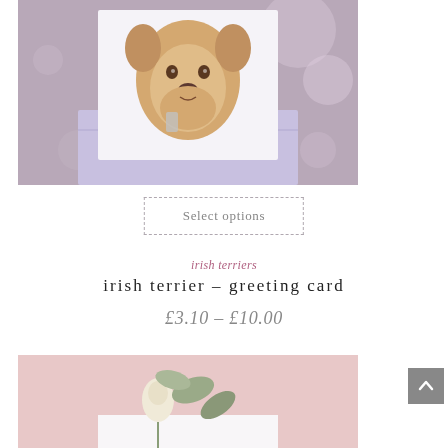[Figure (photo): Greeting card featuring an illustrated Irish Terrier dog, propped against a lavender/purple envelope on a mauve background with bokeh lights]
Select options
irish terriers
irish terrier – greeting card
£3.10 – £10.00
[Figure (photo): Bottom portion of a second product image showing a white rose bud and eucalyptus leaves on a pink background with a white card]